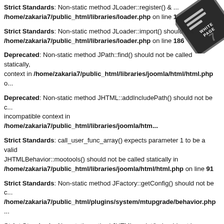Strict Standards: Non-static method JLoader::register() ... /home/zakaria7/public_html/libraries/loader.php on line 1...
[Figure (illustration): White page watermark stamp rotated in upper right corner]
Strict Standards: Non-static method JLoader::import() should not... /home/zakaria7/public_html/libraries/loader.php on line 186
Deprecated: Non-static method JPath::find() should not be called statically, assuming $this from incompatible context in /home/zakaria7/public_html/libraries/joomla/html/html.php o...
Deprecated: Non-static method JHTML::addIncludePath() should not be c... incompatible context in /home/zakaria7/public_html/libraries/joomla/htm...
Strict Standards: call_user_func_array() expects parameter 1 to be a valid callback; JHTMLBehavior::mootools() should not be called statically in /home/zakaria7/public_html/libraries/joomla/html/html.php on line 91
Strict Standards: Non-static method JFactory::getConfig() should not be c... /home/zakaria7/public_html/plugins/system/mtupgrade/behavior.php ...
Strict Standards: Non-static method JHTML::script() should not be called... /home/zakaria7/public_html/plugins/system/mtupgrade/behavior.php ...
Strict Standards: Non-static method JURI::root() should not be called stat... /home/zakaria7/public_html/libraries/joomla/html/html.php on line 176
Strict Standards: Non-static method JFactory::getDocument() should not...